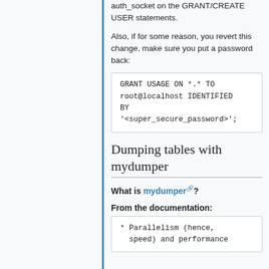auth_socket on the GRANT/CREATE USER statements.

Also, if for some reason, you revert this change, make sure you put a password back:
GRANT USAGE ON *.* TO root@localhost IDENTIFIED BY '<super_secure_password>';
Dumping tables with mydumper
What is mydumper?
From the documentation:
* Parallelism (hence, speed) and performance